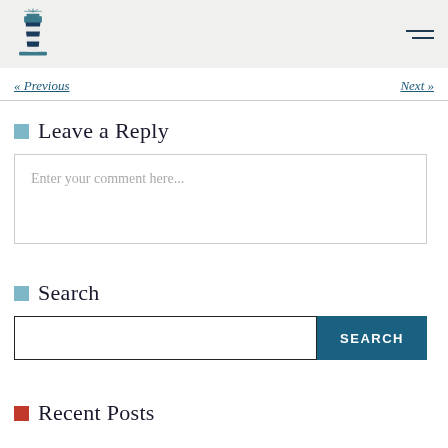Lighthouse logo and navigation menu icon
« Previous    Next »
Leave a Reply
Enter your comment here...
Search
SEARCH
Recent Posts